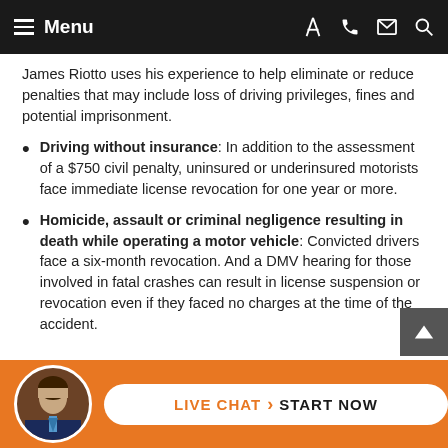Menu
James Riotto uses his experience to help eliminate or reduce penalties that may include loss of driving privileges, fines and potential imprisonment.
Driving without insurance: In addition to the assessment of a $750 civil penalty, uninsured or underinsured motorists face immediate license revocation for one year or more.
Homicide, assault or criminal negligence resulting in death while operating a motor vehicle: Convicted drivers face a six-month revocation. And a DMV hearing for those involved in fatal crashes can result in license suspension or revocation even if they faced no charges at the time of the accident.
LIVE CHAT › START NOW